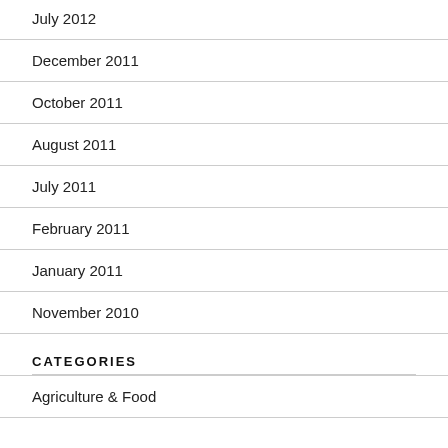July 2012
December 2011
October 2011
August 2011
July 2011
February 2011
January 2011
November 2010
CATEGORIES
Agriculture & Food